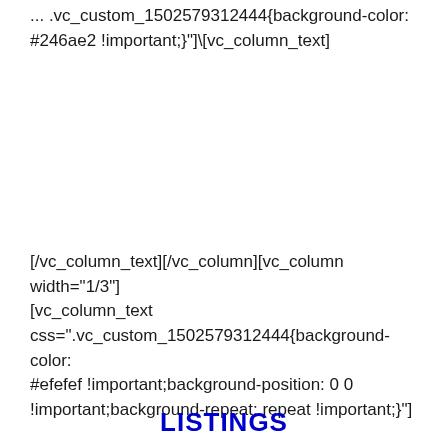... .vc_custom_1502579312444{background-color: #246ae2 !important;}"]​[vc_column_text]
[/vc_column_text][/vc_column][vc_column width="1/3"][vc_column_text css=".vc_custom_1502579312444{background-color: #efefef !important;background-position: 0 0 !important;background-repeat: repeat !important;}"]
LISTINGS